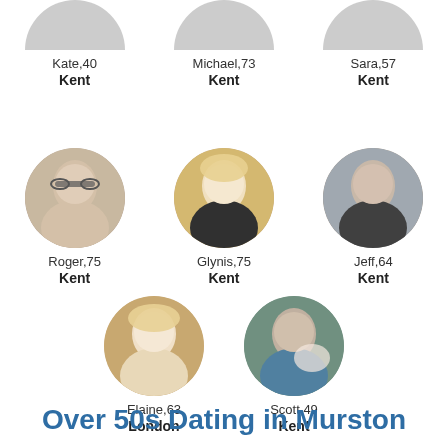[Figure (photo): Partial circular profile photo of Kate, 40, cropped at top]
Kate,40
Kent
[Figure (photo): Partial circular profile photo of Michael, 73, cropped at top]
Michael,73
Kent
[Figure (photo): Partial circular profile photo of Sara, 57, cropped at top]
Sara,57
Kent
[Figure (photo): Circular profile photo of Roger, 75, older man with glasses smiling]
Roger,75
Kent
[Figure (photo): Circular profile photo of Glynis, 75, blonde woman in yellow jacket]
Glynis,75
Kent
[Figure (photo): Circular profile photo of Jeff, 64, bald man smiling]
Jeff,64
Kent
[Figure (photo): Circular profile photo of Elaine, 63, blonde woman]
Elaine,63
London
[Figure (photo): Circular profile photo of Scott, 49, man holding a baby]
Scott,49
Kent
Over 50s Dating in Murston